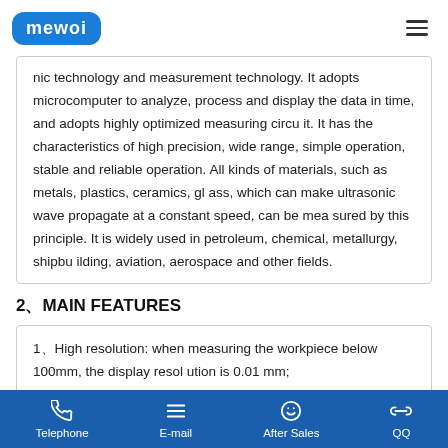MEWOI
nic technology and measurement technology. It adopts microcomputer to analyze, process and display the data in time, and adopts highly optimized measuring circuit. It has the characteristics of high precision, wide range, simple operation, stable and reliable operation. All kinds of materials, such as metals, plastics, ceramics, glass, which can make ultrasonic wave propagate at a constant speed, can be measured by this principle. It is widely used in petroleum, chemical, metallurgy, shipbuilding, aviation, aerospace and other fields.
2、MAIN FEATURES
1、High resolution: when measuring the workpiece below 100mm, the display resolution is 0.01 mm;
2、Automatic calibration zero: the system error can be corrected;
Telephone  E-mail  After Sales  QQ